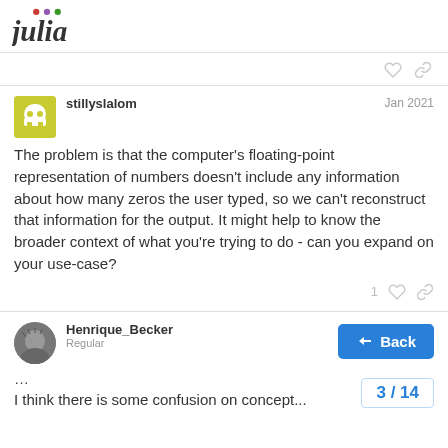julia
stillyslalom   Jan 2021
The problem is that the computer's floating-point representation of numbers doesn't include any information about how many zeros the user typed, so we can't reconstruct that information for the output. It might help to know the broader context of what you're trying to do - can you expand on your use-case?
Henrique_Becker   Regular   Jan 2021
...
I think there is some confusion on concept...